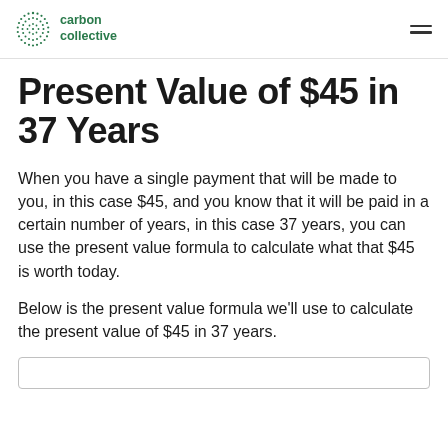carbon collective
Present Value of $45 in 37 Years
When you have a single payment that will be made to you, in this case $45, and you know that it will be paid in a certain number of years, in this case 37 years, you can use the present value formula to calculate what that $45 is worth today.
Below is the present value formula we'll use to calculate the present value of $45 in 37 years.
[Figure (other): Formula box outline at bottom of page (content cut off)]